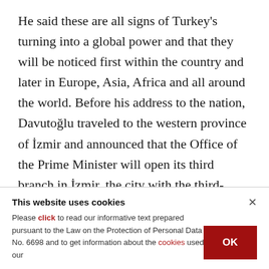He said these are all signs of Turkey's turning into a global power and that they will be noticed first within the country and later in Europe, Asia, Africa and all around the world. Before his address to the nation, Davutoğlu traveled to the western province of İzmir and announced that the Office of the Prime Minister will open its third branch in İzmir, the city with the third-largest population. He made the announcement while speaking at the AK
This website uses cookies
Please click to read our informative text prepared pursuant to the Law on the Protection of Personal Data No. 6698 and to get information about the cookies used on our